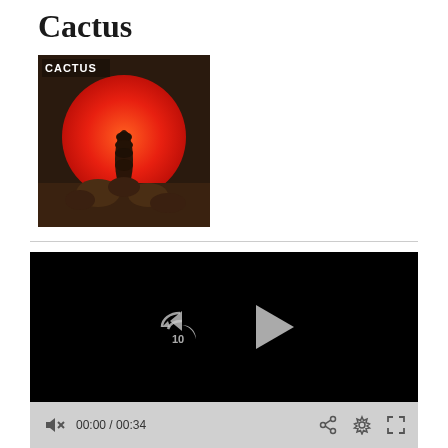Cactus
[Figure (photo): Album cover for Cactus self-titled album, showing a cactus silhouette against a large red/orange circle on a dark background, with white CACTUS text in top-left corner]
[Figure (screenshot): Video player with black background showing a rewind-10-seconds button and a play button (triangle)]
[Figure (screenshot): Video player control bar showing mute icon with x, time 00:00 / 00:34, share icon, settings icon, and fullscreen icon]